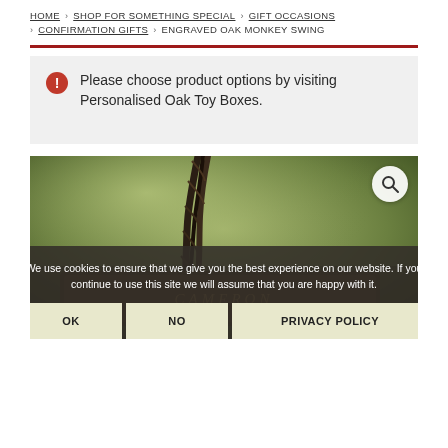HOME > SHOP FOR SOMETHING SPECIAL > GIFT OCCASIONS > CONFIRMATION GIFTS > ENGRAVED OAK MONKEY SWING
Please choose product options by visiting Personalised Oak Toy Boxes.
[Figure (photo): Photo of an engraved oak monkey swing, showing rope against a blurred green background, with an engraved wooden plank visible. A magnify icon appears in the top-right corner.]
We use cookies to ensure that we give you the best experience on our website. If you continue to use this site we will assume that you are happy with it.